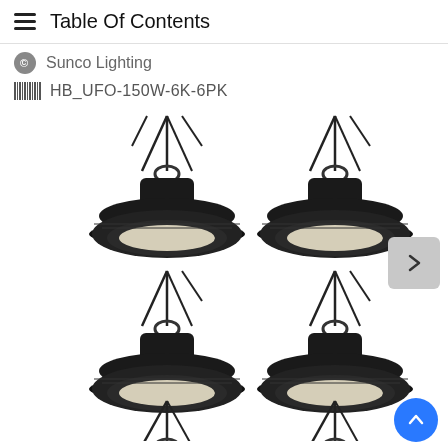Table Of Contents
Sunco Lighting
HB_UFO-150W-6K-6PK
[Figure (photo): Six UFO LED high bay lights (model HB_UFO-150W-6K-6PK by Sunco Lighting) shown in a 2-column product image grid. Each light is a round black UFO-style fixture with a flat LED panel bottom showing white LEDs, heat-sink fins around the perimeter, a central mounting hook/ring, and dangling electrical wires at the top. Four complete lights visible plus two partially cropped at the bottom. A grey navigation arrow button is visible on the right side midway, and a blue scroll-to-top button at the bottom right.]